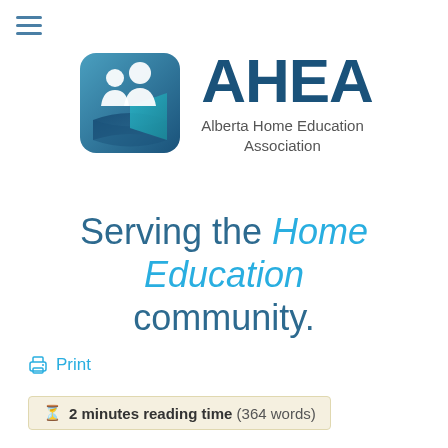[Figure (logo): AHEA - Alberta Home Education Association logo with icon and text]
Serving the Home Education community.
Print
2 minutes reading time (364 words)